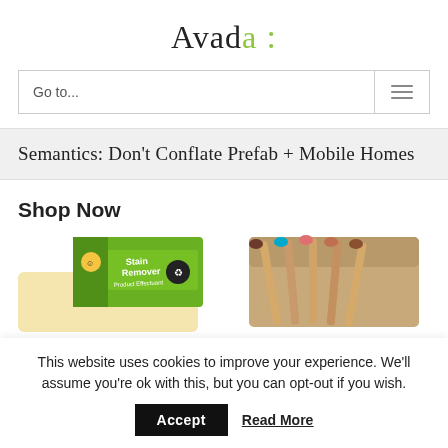Avada :
Go to...
Semantics: Don't Conflate Prefab + Mobile Homes
Shop Now
[Figure (photo): Product photo: green stain remover box on sponge]
[Figure (photo): Product photo: bamboo toothbrushes in cardboard box]
This website uses cookies to improve your experience. We'll assume you're ok with this, but you can opt-out if you wish.
Accept
Read More